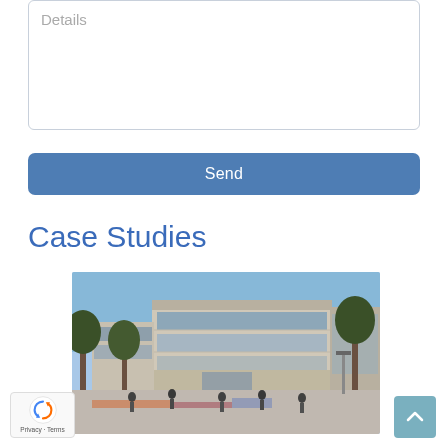Details
Send
Case Studies
[Figure (photo): Outdoor plaza in front of a modern multi-story building with people walking around, trees, and colorful ground markings. Appears to be a university or shopping center campus setting.]